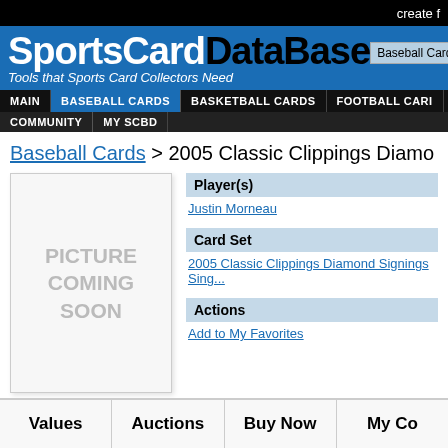create f
SportsCard DataBase - Tools that Sports Card Collectors Need
Baseball Cards | MAIN | BASEBALL CARDS | BASKETBALL CARDS | FOOTBALL CARDS | COMMUNITY | MY SCBD
Baseball Cards > 2005 Classic Clippings Diamond Signings
[Figure (other): PICTURE COMING SOON placeholder image for sports card]
| Player(s) | Card Set | Actions |
| --- | --- | --- |
| Justin Morneau |
| 2005 Classic Clippings Diamond Signings Sing... |
| Add to My Favorites |
Values | Auctions | Buy Now | My Co